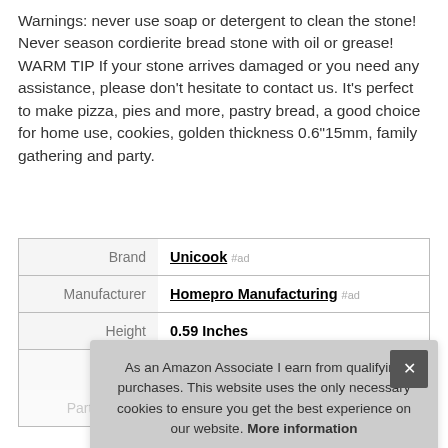Warnings: never use soap or detergent to clean the stone! Never season cordierite bread stone with oil or grease! WARM TIP If your stone arrives damaged or you need any assistance, please don't hesitate to contact us. It's perfect to make pizza, pies and more, pastry bread, a good choice for home use, cookies, golden thickness 0.6"15mm, family gathering and party.
|  |  |
| --- | --- |
| Brand | Unicook #ad |
| Manufacturer | Homepro Manufacturing #ad |
| Height | 0.59 Inches |
| Part Number | BP10014 |
As an Amazon Associate I earn from qualifying purchases. This website uses the only necessary cookies to ensure you get the best experience on our website. More information